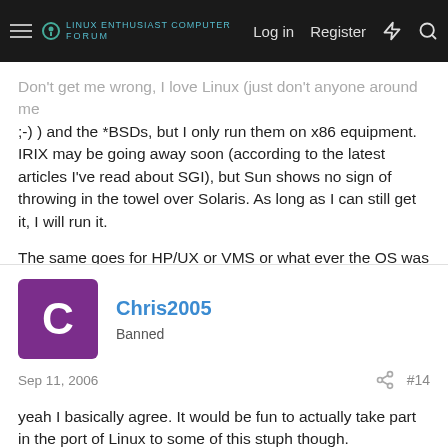Linux Enthusiast Forums — Log in | Register
Don't get me wrong, I love Linux (just don't anyone around me ;-) ) and the *BSDs, but I only run them on x86 equipment. IRIX may be going away soon (according to the latest articles I've read about SGI), but Sun shows no sign of throwing in the towel over Solaris. As long as I can still get it, I will run it.

The same goes for HP/UX or VMS or what ever the OS was that was originally intended to be run on the system. Just my $0.02.
Chris2005
Banned
Sep 11, 2006
#14
yeah I basically agree. It would be fun to actually take part in the port of Linux to some of this stuph though.
Sun recently released an updated development environment for Solaris and x86 Linux too I believe (v.11?). Downloaded it